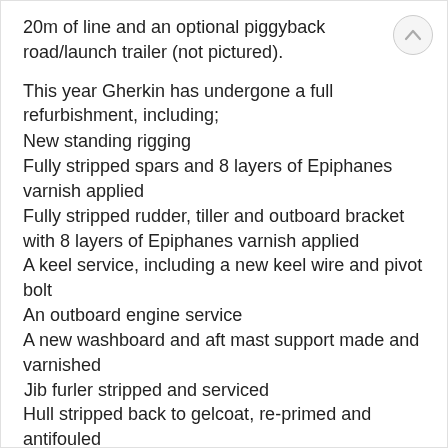20m of line and an optional piggyback road/launch trailer (not pictured).
This year Gherkin has undergone a full refurbishment, including;
New standing rigging
Fully stripped spars and 8 layers of Epiphanes varnish applied
Fully stripped rudder, tiller and outboard bracket with 8 layers of Epiphanes varnish applied
A keel service, including a new keel wire and pivot bolt
An outboard engine service
A new washboard and aft mast support made and varnished
Jib furler stripped and serviced
Hull stripped back to gelcoat, re-primed and antifouled
Topsides compound cut and waxed
Interior cushions freshly laundered
Sails and mainsail cover freshly laundered